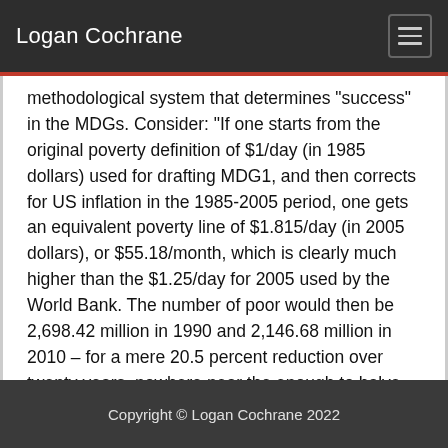Logan Cochrane
methodological system that determines "success" in the MDGs. Consider: "If one starts from the original poverty definition of $1/day (in 1985 dollars) used for drafting MDG1, and then corrects for US inflation in the 1985-2005 period, one gets an equivalent poverty line of $1.815/day (in 2005 dollars), or $55.18/month, which is clearly much higher than the $1.25/day for 2005 used by the World Bank. The number of poor would then be 2,698.42 million in 1990 and 2,146.68 million in 2010 – for a mere 20.5 percent reduction over twenty years, nowhere near the enough to halve the proportion, let alone the number, of poor in developing countries" (p. 32, Chapter 2).
Copyright © Logan Cochrane 2022